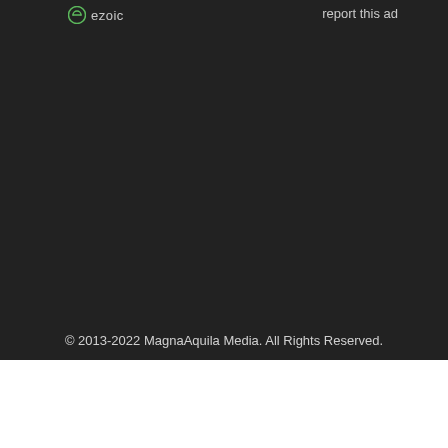[Figure (logo): Ezoic logo with green circular icon and gray 'ezoic' text]
report this ad
© 2013-2022 MagnaAquila Media. All Rights Reserved.